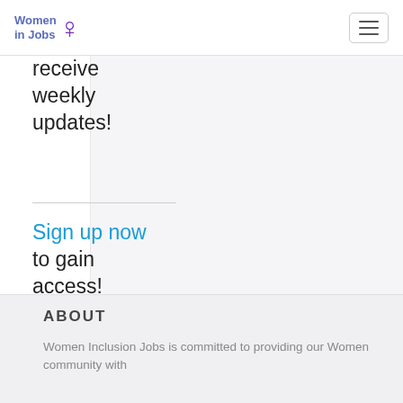Women in Jobs
receive weekly updates!
Sign up now to gain access!
ABOUT
Women Inclusion Jobs is committed to providing our Women community with